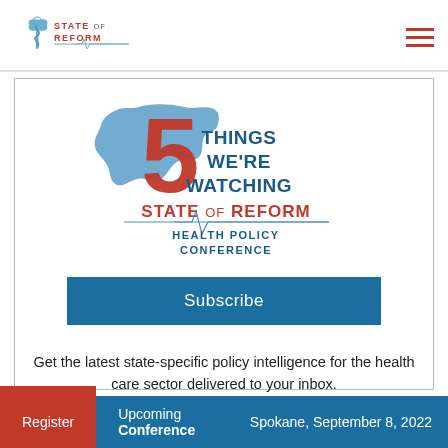[Figure (logo): State of Reform logo in top-left nav bar with caduceus/medical symbol and text 'STATE OF REFORM']
[Figure (logo): 5 Things We're Watching - State of Reform Health Policy Conference logo, featuring Washington state silhouette in blue, red number 5, and text in blue and red]
Subscribe
Get the latest state-specific policy intelligence for the health care sector delivered to your inbox.
Register   Upcoming Conference   Spokane, September 8, 2022